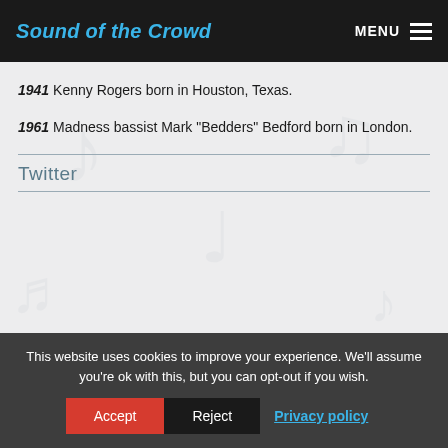Sound of the Crowd | MENU
1941 Kenny Rogers born in Houston, Texas.
1961 Madness bassist Mark "Bedders" Bedford born in London.
Twitter
Most popular posts
This website uses cookies to improve your experience. We'll assume you're ok with this, but you can opt-out if you wish.